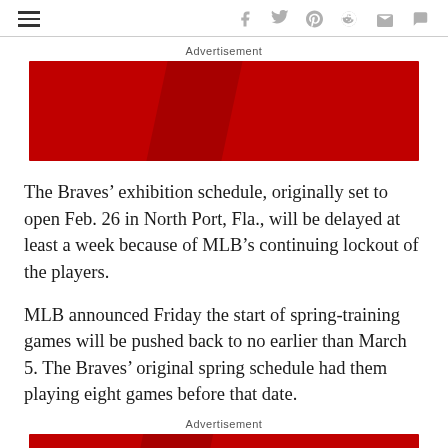navigation bar with hamburger menu and social icons
Advertisement
[Figure (other): Red advertisement banner with darker red diagonal stripe]
The Braves’ exhibition schedule, originally set to open Feb. 26 in North Port, Fla., will be delayed at least a week because of MLB’s continuing lockout of the players.
MLB announced Friday the start of spring-training games will be pushed back to no earlier than March 5. The Braves’ original spring schedule had them playing eight games before that date.
Advertisement
[Figure (other): Red advertisement banner with darker red diagonal stripe (partial, cropped at bottom)]